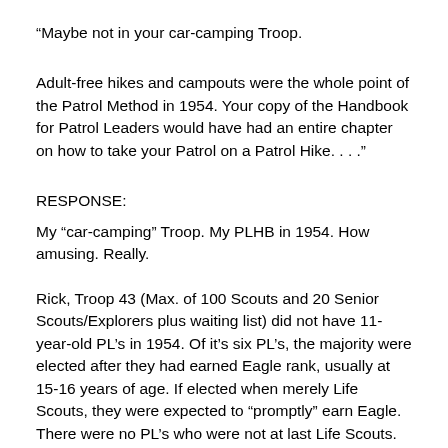"Maybe not in your car-camping Troop.
Adult-free hikes and campouts were the whole point of the Patrol Method in 1954. Your copy of the Handbook for Patrol Leaders would have had an entire chapter on how to take your Patrol on a Patrol Hike. . . ."
RESPONSE:
My "car-camping" Troop. My PLHB in 1954. How amusing. Really.
Rick, Troop 43 (Max. of 100 Scouts and 20 Senior Scouts/Explorers plus waiting list) did not have 11-year-old PL's in 1954. Of it's six PL's, the majority were elected after they had earned Eagle rank, usually at 15-16 years of age. If elected when merely Life Scouts, they were expected to "promptly" earn Eagle. There were no PL's who were not at last Life Scouts. So I was merely a dazzled newbie in 1954, trying to take it all in. I had